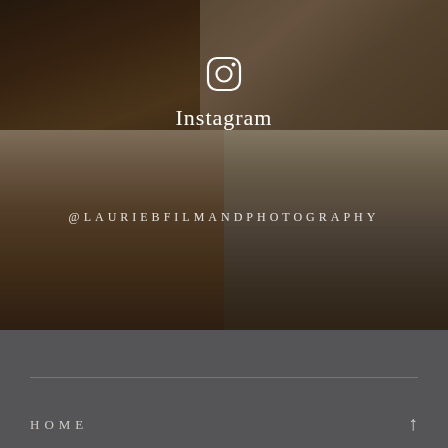[Figure (photo): Wedding photography collage showing couple kissing under veil on left, couple facing each other on right, with hands/outdoor scene at top strip. Dark moody tones.]
Instagram
@LAURIEBFILMANDPHOTOGRAPHY
HOME